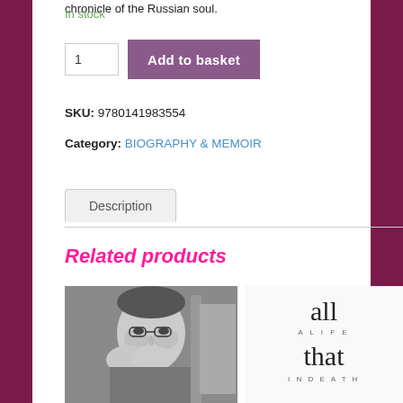chronicle of the Russian soul.
In stock
1  Add to basket
SKU: 9780141983554
Category: BIOGRAPHY & MEMOIR
Description
Related products
[Figure (photo): Black and white photo of a man resting his face on his hand]
[Figure (illustration): Book cover with text 'all a life that in death' in serif font on white background]